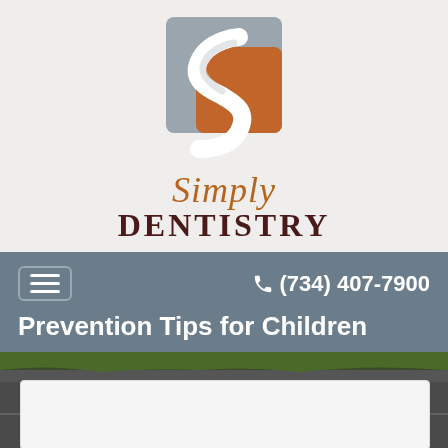[Figure (logo): Simply Dentistry logo with stylized S in gray and orange square, with 'Simply' in italic brown script and 'DENTISTRY' in dark serif capitals below]
☰  ✆ (734) 407-7900
Prevention Tips for Children
[Figure (photo): Road/asphalt surface with green grass edges, outdoor background]
[Figure (other): White/light gray card or content box partially visible at bottom]